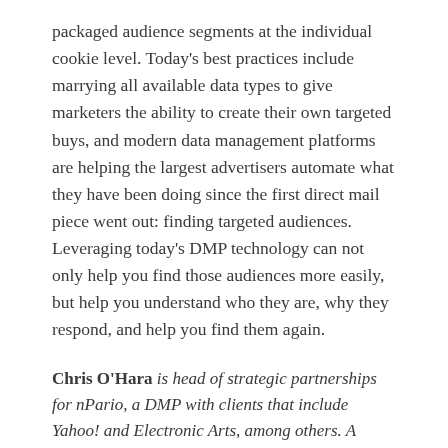packaged audience segments at the individual cookie level. Today's best practices include marrying all available data types to give marketers the ability to create their own targeted buys, and modern data management platforms are helping the largest advertisers automate what they have been doing since the first direct mail piece went out: finding targeted audiences. Leveraging today's DMP technology can not only help you find those audiences more easily, but help you understand who they are, why they respond, and help you find them again.
Chris O'Hara is head of strategic partnerships for nPario, a DMP with clients that include Yahoo! and Electronic Arts, among others. A frequent contributor to industry publications, this is his first column for The Agency Post. He can be reached